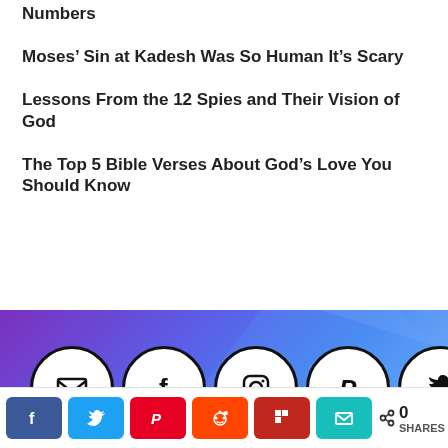Numbers
Moses' Sin at Kadesh Was So Human It’s Scary
Lessons From the 12 Spies and Their Vision of God
The Top 5 Bible Verses About God’s Love You Should Know
[Figure (infographic): Purple and blue gradient banner with five social media circle icons: email/envelope, Facebook (f), Instagram, Pinterest (P), Twitter (bird)]
[Figure (infographic): Share bar with colored buttons: Facebook (blue), Twitter (light blue), Pinterest (red), Reddit (orange-red), Flipboard (red), Email (teal/cyan), and a share count showing 0 SHARES]